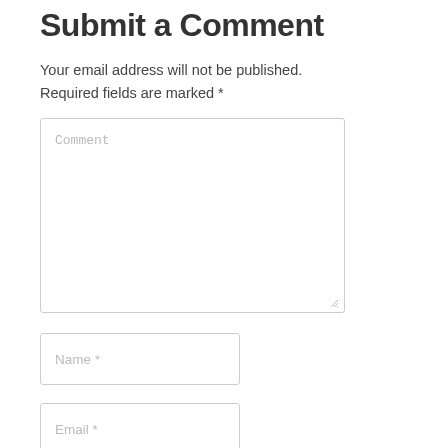Submit a Comment
Your email address will not be published. Required fields are marked *
[Figure (screenshot): Comment text area input field with placeholder text 'Comment' and resize handle]
[Figure (screenshot): Name input field with placeholder text 'Name *']
[Figure (screenshot): Email input field with placeholder text 'Email *']